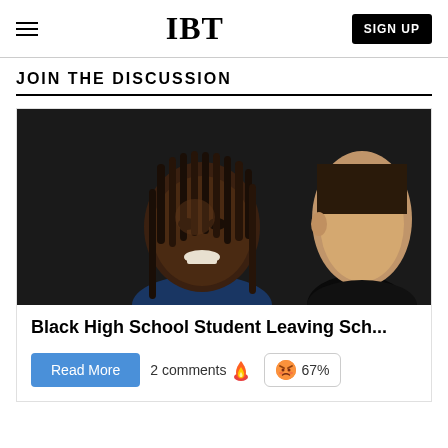IBT | SIGN UP
JOIN THE DISCUSSION
[Figure (photo): Two teenagers, one Black student with dreadlocks smiling, another student visible on the right, dark background]
Black High School Student Leaving Sch...
Read More | 2 comments 🔥 | 😠 67%